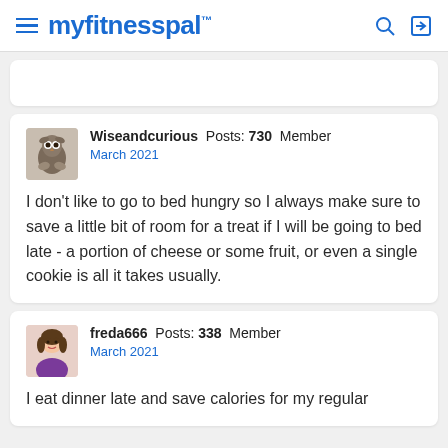myfitnesspal
Wiseandcurious  Posts: 730  Member
March 2021

I don't like to go to bed hungry so I always make sure to save a little bit of room for a treat if I will be going to bed late - a portion of cheese or some fruit, or even a single cookie is all it takes usually.
freda666  Posts: 338  Member
March 2021

I eat dinner late and save calories for my regular